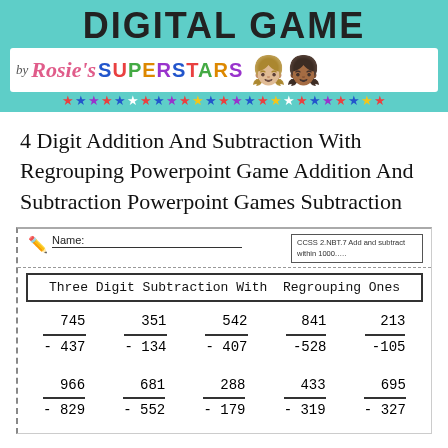[Figure (illustration): Digital Game banner with teal background, 'by Rosie's Superstars' logo with colorful text and cartoon children, stars decoration row]
4 Digit Addition And Subtraction With Regrouping Powerpoint Game Addition And Subtraction Powerpoint Games Subtraction
[Figure (screenshot): Math worksheet preview showing 'Three Digit Subtraction With Regrouping Ones' with two rows of subtraction problems: 745-437, 351-134, 542-407, 841-528, 213-105 and 966-829, 681-552, 288-179, 433-319, 695-327]